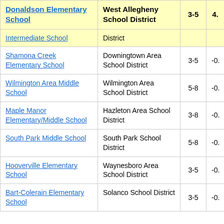| School | District | Grades | Value |
| --- | --- | --- | --- |
| Donaldson Elementary School | West Allegheny School District | 3-5 | 4. |
| Intermediate School | District |  |  |
| Shamona Creek Elementary School | Downingtown Area School District | 3-5 | -0. |
| Wilmington Area Middle School | Wilmington Area School District | 5-8 | -0. |
| Maple Manor Elementary/Middle School | Hazleton Area School District | 3-8 | -0. |
| South Park Middle School | South Park School District | 5-8 | -0. |
| Hooverville Elementary School | Waynesboro Area School District | 3-5 | -0. |
| Bart-Colerain Elementary School | Solanco School District | 3-5 | -0. |